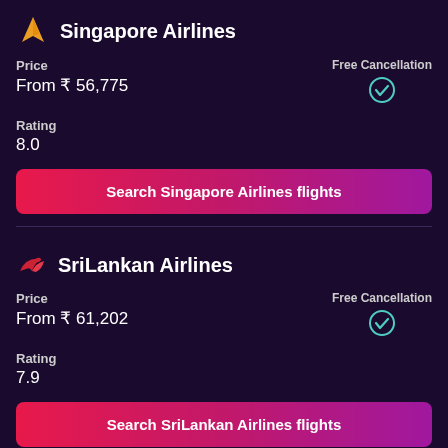Singapore Airlines
Price
From ₹ 56,775
Free Cancellation ✓
Rating
8.0
Search Singapore Airlines flights
SriLankan Airlines
Price
From ₹ 61,202
Free Cancellation ✓
Rating
7.9
Search SriLankan Airlines flights